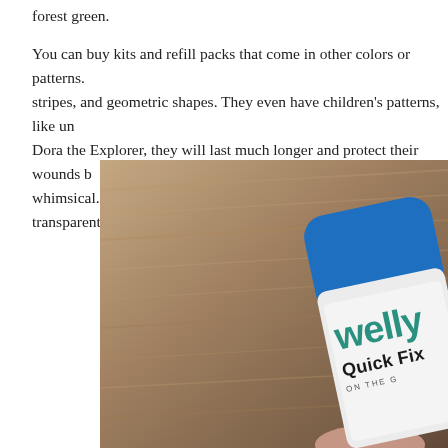forest green.
You can buy kits and refill packs that come in other colors or patterns. stripes, and geometric shapes. They even have children's patterns, like un Dora the Explorer, they will last much longer and protect their wounds b whimsical. If you don't want to be super obvious, they do have transparent
[Figure (photo): A hand holding a Welly brand Quick Fix bandage tin/container against a wood grain background. The container has a blue rounded top and white lower portion with 'welly' in teal letters and 'Quick Fix' text below.]